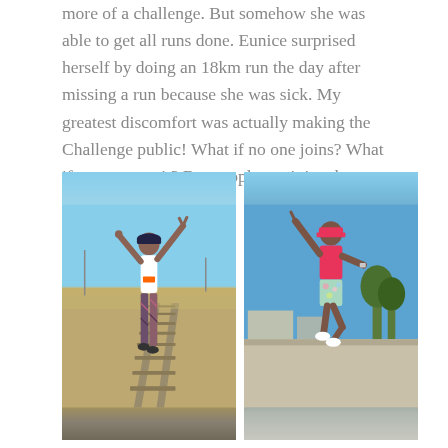more of a challenge. But somehow she was able to get all runs done. Eunice surprised herself by doing an 18km run the day after missing a run because she was sick. My greatest discomfort was actually making the Challenge public! What if no one joins? What if no one gets it? But people got it in a huge way!
[Figure (photo): Two side-by-side photos of women celebrating outdoors. Left photo: a woman in a white tank top and patterned leggings, wearing a dark cap, posing with arms raised in a V-shape on a railway track in a dry landscape. Right photo: a woman in a bright pink top, pink visor cap, and floral shorts, jumping in the air with one arm raised and pointing up, on a street with blue sky and trees in the background.]